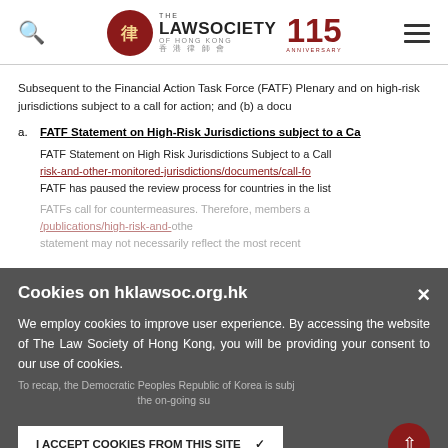The Law Society of Hong Kong — 115th Anniversary
Subsequent to the Financial Action Task Force (FATF) Plenary and on high-risk jurisdictions subject to a call for action; and (b) a docu
a. FATF Statement on High-Risk Jurisdictions subject to a Call for Action
FATF Statement on High Risk Jurisdictions Subject to a Call for Action. risk-and-other-monitored-jurisdictions/documents/call-fo FATF has paused the review process for countries in the list FATF's call for countermeasures. Therefore, members a /publications/high-risk-and-othe statement may not necessarily reflect the most recent To recap, the Democratic Peoples Republic of Korea is subj the on-going su Meanwhile, Iran is subject to a FATF call on its members
Cookies on hklawsoc.org.hk
We employ cookies to improve user experience. By accessing the website of The Law Society of Hong Kong, you will be providing your consent to our use of cookies.
I ACCEPT COOKIES FROM THIS SITE ✓